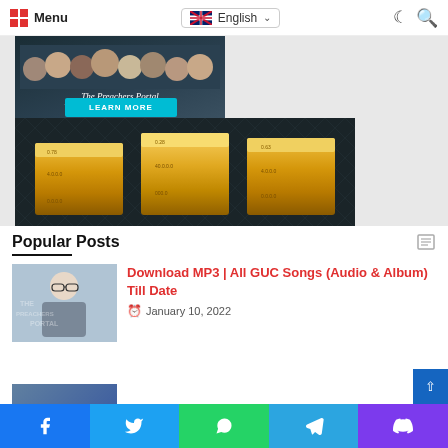Menu | English | [moon icon] [search icon]
[Figure (photo): The Preachers Portal website banner with group photo of preachers and a LEARN MORE button overlay, below which is a photo of three gold bullion bars on a dark background]
Popular Posts
Download MP3 | All GUC Songs (Audio & Album) Till Date
January 10, 2022
Facebook | Twitter | WhatsApp | Telegram | Viber share buttons